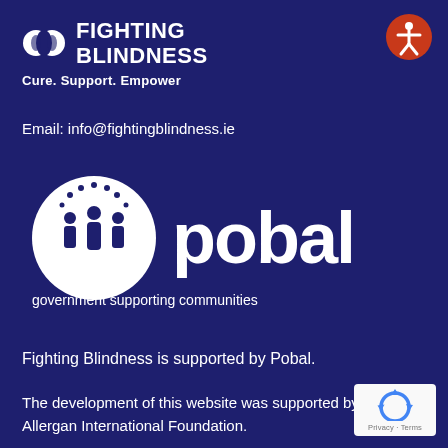[Figure (logo): Fighting Blindness logo with two overlapping circles and bold white text 'FIGHTING BLINDNESS' with tagline 'Cure. Support. Empower']
[Figure (logo): Accessibility icon — orange circle with white person figure]
Email: info@fightingblindness.ie
[Figure (logo): Pobal logo — white circle with people silhouettes and dots, text 'pobal' and 'government supporting communities']
Fighting Blindness is supported by Pobal.
The development of this website was supported by Allergan International Foundation.
[Figure (logo): Google reCAPTCHA badge with Privacy - Terms text]